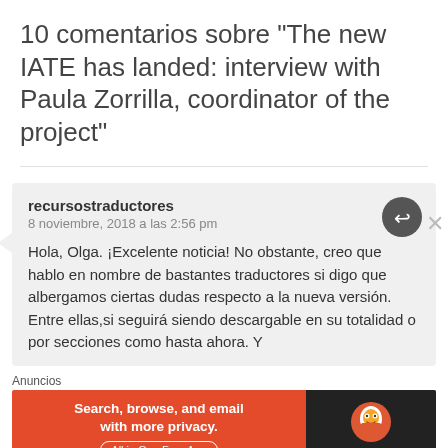10 comentarios sobre “The new IATE has landed: interview with Paula Zorrilla, coordinator of the project”
recursostraductores
8 noviembre, 2018 a las 2:56 pm

Hola, Olga. ¡Excelente noticia! No obstante, creo que hablo en nombre de bastantes traductores si digo que albergamos ciertas dudas respecto a la nueva versión. Entre ellas,si seguirá siendo descargable en su totalidad o por secciones como hasta ahora. Y
Anuncios
[Figure (other): DuckDuckGo advertisement banner: orange background on left with text 'Search, browse, and email with more privacy. All in One Free App', dark background on right with DuckDuckGo duck logo and brand name.]